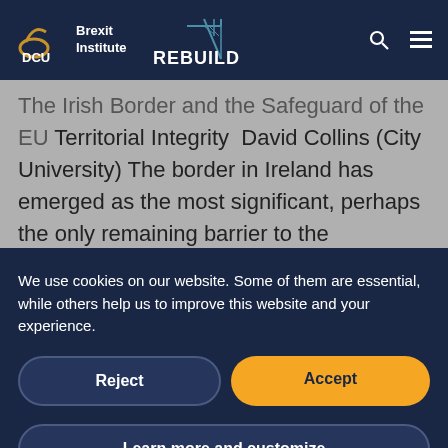DCU Brexit Institute | REBUILD
The Irish Border and the Safeguard of the EU Territorial Integrity  David Collins (City University) The border in Ireland has emerged as the most significant, perhaps the only remaining barrier to the conclusion of sensible trade arrangements between the UK and the EU, at...
We use cookies on our website. Some of them are essential, while others help us to improve this website and your experience.
Reject
Accept
Learn more and customize